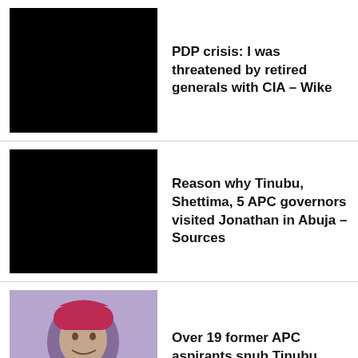PDP crisis: I was threatened by retired generals with CIA – Wike
Reason why Tinubu, Shettima, 5 APC governors visited Jonathan in Abuja – Sources
Over 19 former APC aspirants snub Tinubu meeting
Why we're not a social media party – Labour Party